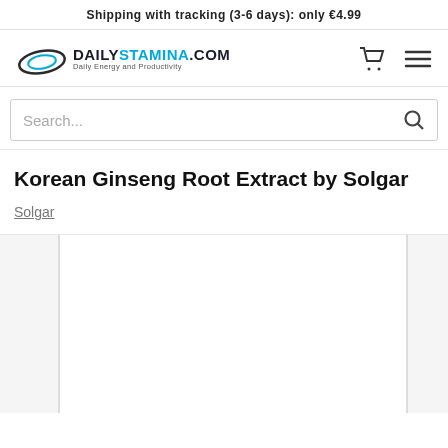Shipping with tracking (3-6 days): only €4.99
[Figure (logo): DailyStamina.com logo with stylized swoosh icon and tagline 'Daily Energy and Productivity']
Search...
Korean Ginseng Root Extract by Solgar
Solgar
[Figure (photo): Product image carousel showing Korean Ginseng Root Extract by Solgar — main large image area flanked by smaller side panels]